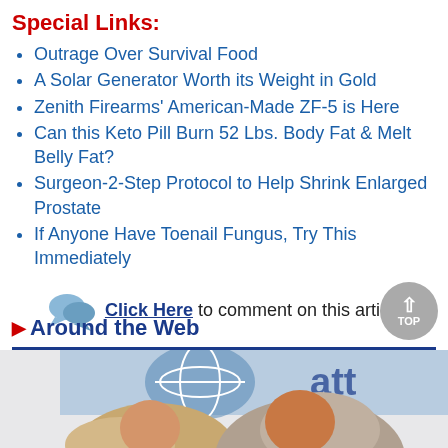Special Links:
Outrage Over Survival Food
A Solar Generator Worth its Weight in Gold
Zenith Firearms' American-Made ZF-5 is Here
Can this Keto Pill Burn 52 Lbs. Body Fat & Melt Belly Fat?
Surgeon-2-Step Protocol to Help Shrink Enlarged Prostate
If Anyone Have Toenail Fungus, Try This Immediately
Click Here to comment on this article
Around the Web
[Figure (photo): Photo of two people at an AT&T event, partially visible at the bottom of the page]